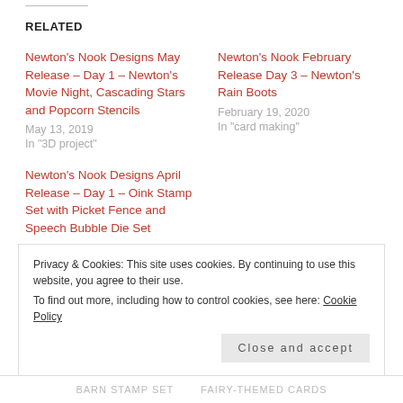RELATED
Newton's Nook Designs May Release – Day 1 – Newton's Movie Night, Cascading Stars and Popcorn Stencils
May 13, 2019
In "3D project"
Newton's Nook February Release Day 3 – Newton's Rain Boots
February 19, 2020
In "card making"
Newton's Nook Designs April Release – Day 1 – Oink Stamp Set with Picket Fence and Speech Bubble Die Set
April 8, 2019
In "3D project"
Privacy & Cookies: This site uses cookies. By continuing to use this website, you agree to their use.
To find out more, including how to control cookies, see here: Cookie Policy
Close and accept
BARN STAMP SET    FAIRY-THEMED CARDS